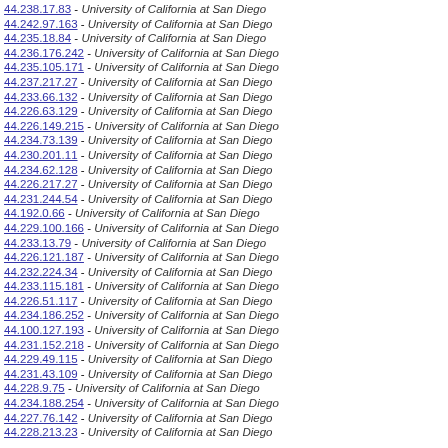44.238.17.83 - University of California at San Diego
44.242.97.163 - University of California at San Diego
44.235.18.84 - University of California at San Diego
44.236.176.242 - University of California at San Diego
44.235.105.171 - University of California at San Diego
44.237.217.27 - University of California at San Diego
44.233.66.132 - University of California at San Diego
44.226.63.129 - University of California at San Diego
44.226.149.215 - University of California at San Diego
44.234.73.139 - University of California at San Diego
44.230.201.11 - University of California at San Diego
44.234.62.128 - University of California at San Diego
44.226.217.27 - University of California at San Diego
44.231.244.54 - University of California at San Diego
44.192.0.66 - University of California at San Diego
44.229.100.166 - University of California at San Diego
44.233.13.79 - University of California at San Diego
44.226.121.187 - University of California at San Diego
44.232.224.34 - University of California at San Diego
44.233.115.181 - University of California at San Diego
44.226.51.117 - University of California at San Diego
44.234.186.252 - University of California at San Diego
44.100.127.193 - University of California at San Diego
44.231.152.218 - University of California at San Diego
44.229.49.115 - University of California at San Diego
44.231.43.109 - University of California at San Diego
44.228.9.75 - University of California at San Diego
44.234.188.254 - University of California at San Diego
44.227.76.142 - University of California at San Diego
44.228.213.23 - University of California at San Diego